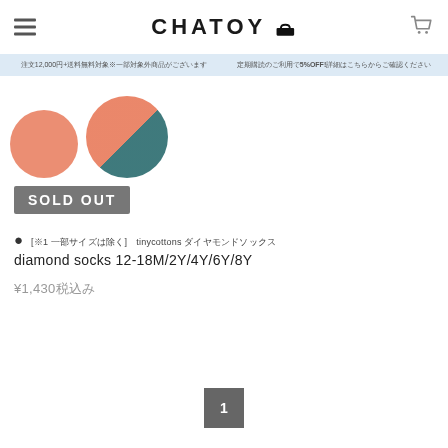CHATOY
注文12,000円+送料無料対象※一部対象外商品がございます　定期購読のご利用で5%OFF!詳細はこちらからご確認ください
[Figure (photo): Two overlapping circular product images showing colorful socks, partially cropped at top]
SOLD OUT
[※1 一部サイズは除く]　tinycottons ダイヤモンドソックス
diamond socks 12-18M/2Y/4Y/6Y/8Y
¥1,430税込み
1